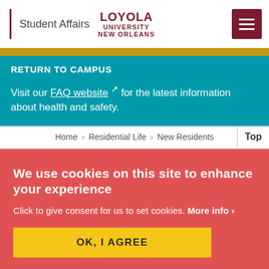Student Affairs | LOYOLA UNIVERSITY NEW ORLEANS
RETURN TO CAMPUS
Visit our FAQ website ↗ for the latest information about health and safety.
Home > Residential Life > New Residents
We use cookies on this site to enhance your experience
Click to give consent for us to set cookies. More info >
OK, I AGREE